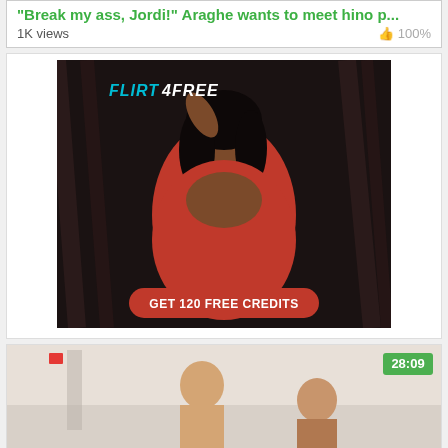"Break my ass, Jordi!" Araghe wants to meet hino p...
1K views   100%
[Figure (photo): Flirt4Free advertisement showing a woman in red with a 'GET 120 FREE CREDITS' button]
[Figure (photo): Video thumbnail showing two people, duration badge 28:09]